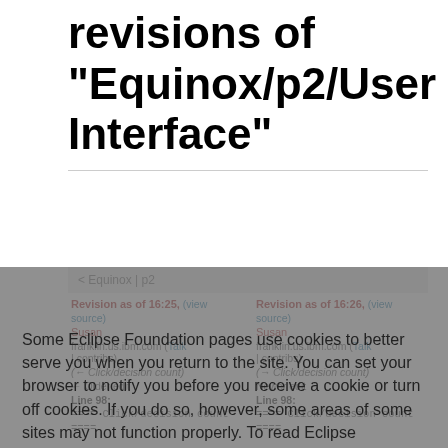revisions of "Equinox/p2/User Interface"
Some Eclipse Foundation pages use cookies to better serve you when you return to the site. You can set your browser to notify you before you receive a cookie or turn off cookies. If you do so, however, some areas of some sites may not function properly. To read Eclipse Foundation Privacy Policy click here:
Decline
Allow cookies